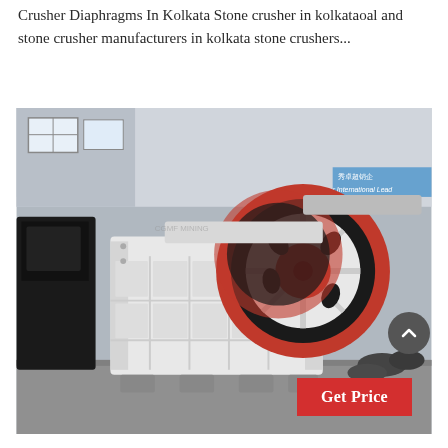Crusher Diaphragms In Kolkata Stone crusher in kolkataoal and stone crusher manufacturers in kolkata stone crushers...
[Figure (photo): Industrial jaw crusher machine with red and black flywheel, white body, displayed in a factory/warehouse setting. A 'Get Price' button overlay appears at bottom right.]